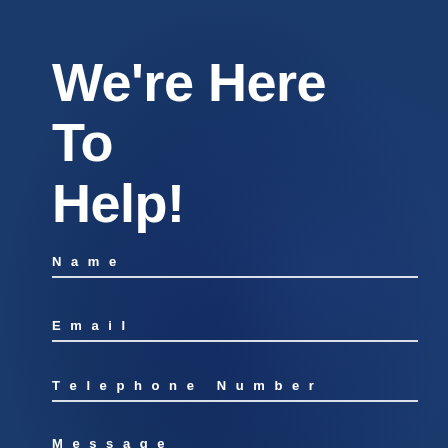We're Here To Help!
Name
Email
Telephone Number
Message